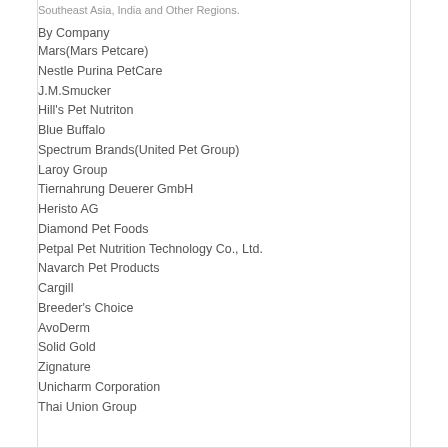Southeast Asia, India and Other Regions.
By Company
Mars(Mars Petcare)
Nestle Purina PetCare
J.M.Smucker
Hill's Pet Nutriton
Blue Buffalo
Spectrum Brands(United Pet Group)
Laroy Group
Tiernahrung Deuerer GmbH
Heristo AG
Diamond Pet Foods
Petpal Pet Nutrition Technology Co., Ltd.
Navarch Pet Products
Cargill
Breeder's Choice
AvoDerm
Solid Gold
Zignature
Unicharm Corporation
Thai Union Group